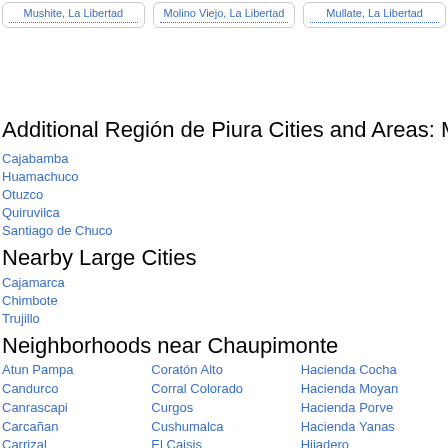[Figure (other): Three location cards: Mushite La Libertad, Molino Viejo La Libertad, Mullate La Libertad]
Additional Región de Piura Cities and Areas: Men a
Cajabamba
Huamachuco
Otuzco
Quiruvilca
Santiago de Chuco
Nearby Large Cities
Cajamarca
Chimbote
Trujillo
Neighborhoods near Chaupimonte
Atun Pampa
Candurco
Canrascapi
Carcañan
Carrizal
Coratón Alto
Corral Colorado
Curgos
Cushumalca
El Caisis
Hacienda Cocha
Hacienda Moyan
Hacienda Porve
Hacienda Yanas
Hijadero